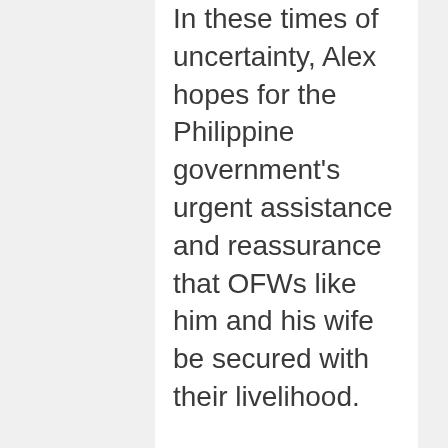In these times of uncertainty, Alex hopes for the Philippine government’s urgent assistance and reassurance that OFWs like him and his wife be secured with their livelihood.
“If our government could not provide basic jobs in our own country, they might as well provide sufficient assistance to OFWs like us who are greatly affected by the outbreak. I hope that the government ensures we could